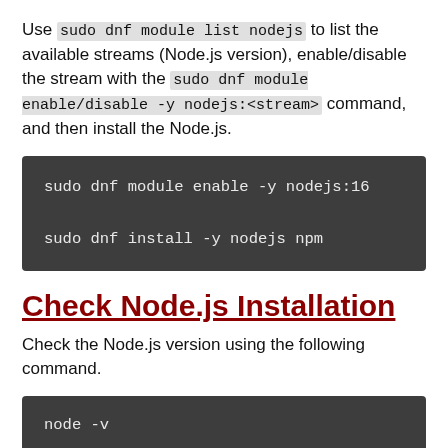Use sudo dnf module list nodejs to list the available streams (Node.js version), enable/disable the stream with the sudo dnf module enable/disable -y nodejs:<stream> command, and then install the Node.js.
sudo dnf module enable -y nodejs:16
sudo dnf install -y nodejs npm
Check Node.js Installation
Check the Node.js version using the following command.
node -v